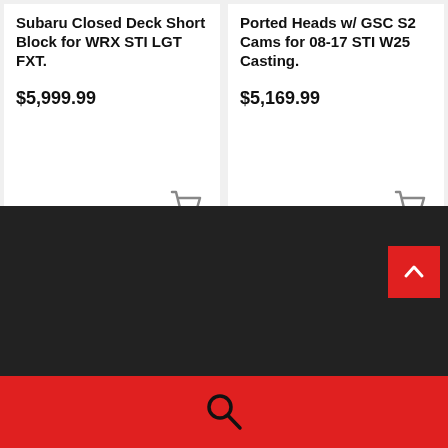Subaru Closed Deck Short Block for WRX STI LGT FXT.
$5,999.99
Ported Heads w/ GSC S2 Cams for 08-17 STI W25 Casting.
$5,169.99
[Figure (other): Pagination dots: 5 dots, first one active/darker]
[Figure (other): Dark footer area with back-to-top red button showing upward chevron arrow]
[Figure (other): Red bottom bar with search magnifying glass icon]